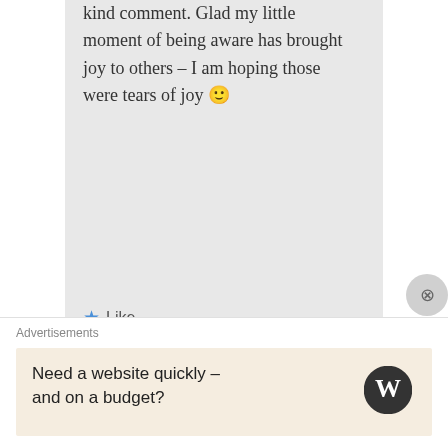kind comment. Glad my little moment of being aware has brought joy to others – I am hoping those were tears of joy 🙂
★ Like
Reply ↓
Lynn Daue on 2012-12-13 at 08:32 said:
Advertisements
Need a website quickly – and on a budget?